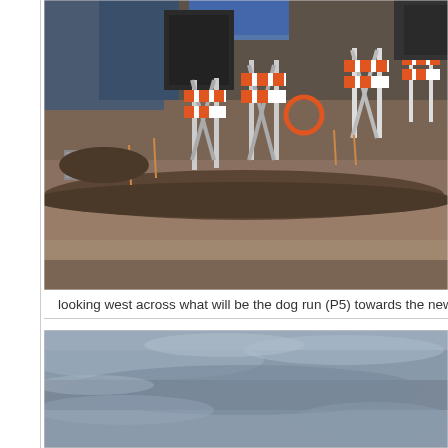[Figure (photo): Construction site photo looking west across a graded dirt area with orange and white construction barricades/sawhorses, temporary fencing, blue tarps or structures in background, and stacked materials at right]
looking west across what will be the dog run (P5) towards the newly-gra
[Figure (photo): Overcast sky photo with grey clouds, partially cropped at bottom of page]